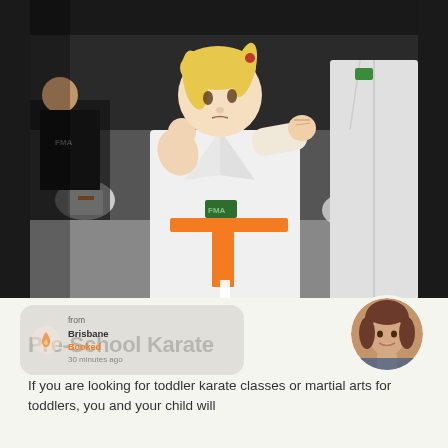[Figure (photo): Young blonde girl in white karate gi with orange belt (FMA logo) in a fighting stance with fists raised, at a martial arts class. Other children in white gis are visible in the background.]
from Brisbane Booked 30 minutes ago
Pre-School Karate
[Figure (photo): Circular profile photo of a middle-aged woman with brown hair, smiling]
If you are looking for toddler karate classes or martial arts for toddlers, you and your child will